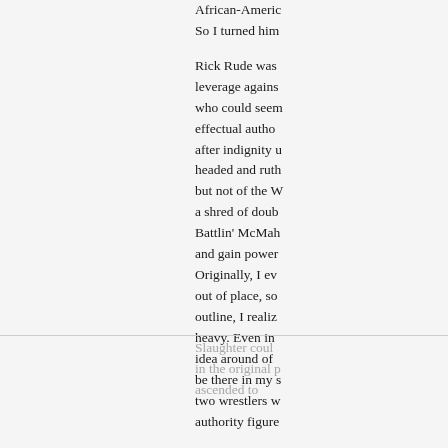African-Americ... So I turned him...
Rick Rude was... leverage agains... who could seem... effectual autho... after indignity u... headed and ruth... but not of the W... a shred of doub... Battlin' McMah... and gain power... Originally, I ev... out of place, so... outline, I realiz... heavy. Even in... idea around of ... be there in my s... two wrestlers w... authority figure...
Slaughter coul... in the original p... ascended to...